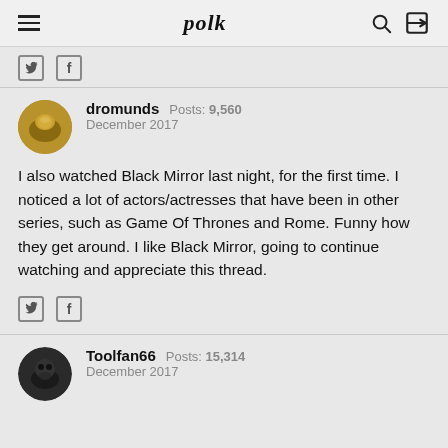polk
dromunds Posts: 9,560 December 2017
I also watched Black Mirror last night, for the first time. I noticed a lot of actors/actresses that have been in other series, such as Game Of Thrones and Rome. Funny how they get around. I like Black Mirror, going to continue watching and appreciate this thread.
Toolfan66 Posts: 15,314 December 2017